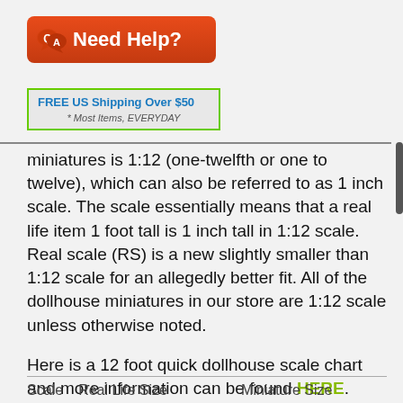[Figure (logo): Red rounded rectangle banner with Q and A speech bubble icons and the text 'Need Help?' in white bold font]
[Figure (other): Green-bordered box with text 'FREE US Shipping Over $50' in blue bold and '* Most Items, EVERYDAY' in italic gray below]
miniatures is 1:12 (one-twelfth or one to twelve), which can also be referred to as 1 inch scale. The scale essentially means that a real life item 1 foot tall is 1 inch tall in 1:12 scale. Real scale (RS) is a new slightly smaller than 1:12 scale for an allegedly better fit. All of the dollhouse miniatures in our store are 1:12 scale unless otherwise noted.
Here is a 12 foot quick dollhouse scale chart and more information can be found HERE.
| Scale | Real Life Size | Miniature Size |
| --- | --- | --- |